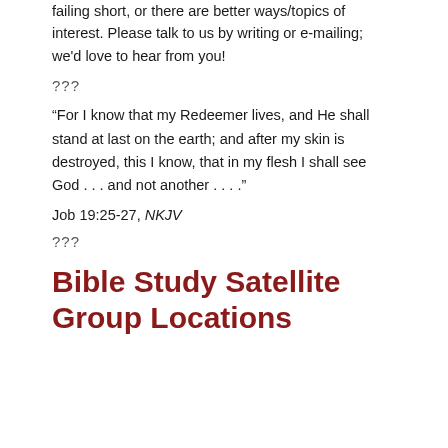failing short, or there are better ways/topics of interest. Please talk to us by writing or e-mailing; we'd love to hear from you!
???
“For I know that my Redeemer lives, and He shall stand at last on the earth; and after my skin is destroyed, this I know, that in my flesh I shall see God . . . and not another . . . .”
Job 19:25-27, NKJV
???
Bible Study Satellite Group Locations